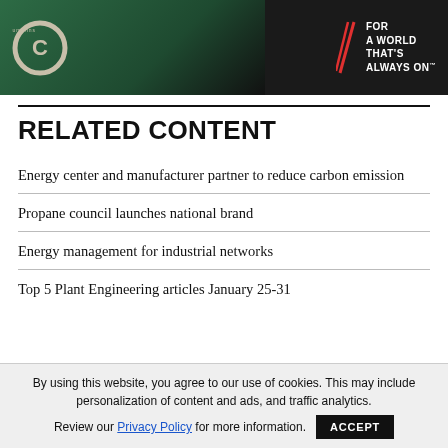[Figure (photo): Cummins advertisement banner showing a dark green industrial generator/engine with Cummins logo and 'FOR A WORLD THAT'S ALWAYS ON' tagline]
RELATED CONTENT
Energy center and manufacturer partner to reduce carbon emission
Propane council launches national brand
Energy management for industrial networks
Top 5 Plant Engineering articles January 25-31
By using this website, you agree to our use of cookies. This may include personalization of content and ads, and traffic analytics. Review our Privacy Policy for more information. ACCEPT